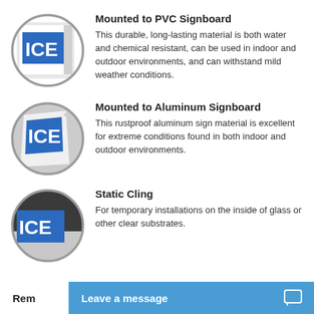[Figure (illustration): Circular photo showing ICE sign mounted on white PVC signboard]
Mounted to PVC Signboard
This durable, long-lasting material is both water and chemical resistant, can be used in indoor and outdoor environments, and can withstand mild weather conditions.
[Figure (illustration): Circular photo showing ICE sign mounted on white aluminum signboard at an angle]
Mounted to Aluminum Signboard
This rustproof aluminum sign material is excellent for extreme conditions found in both indoor and outdoor environments.
[Figure (illustration): Circular photo showing ICE static cling sign on dark glass surface]
Static Cling
For temporary installations on the inside of glass or other clear substrates.
Rem
Leave a message